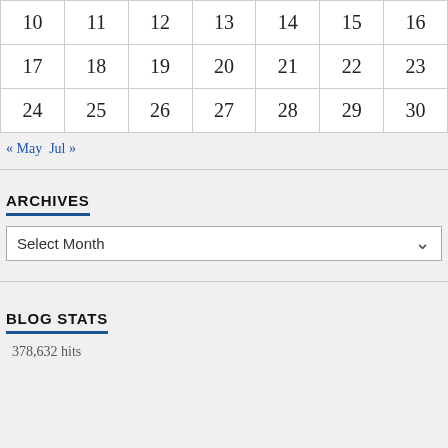| 10 | 11 | 12 | 13 | 14 | 15 | 16 |
| 17 | 18 | 19 | 20 | 21 | 22 | 23 |
| 24 | 25 | 26 | 27 | 28 | 29 | 30 |
« May   Jul »
ARCHIVES
Select Month
BLOG STATS
378,632 hits